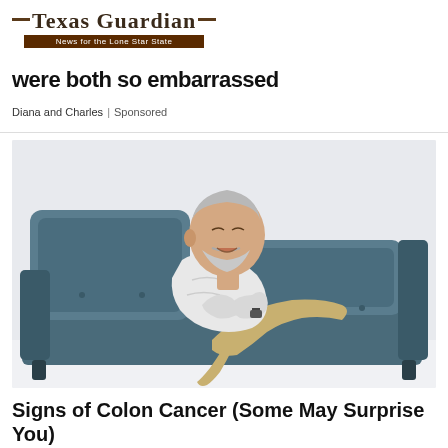Texas Guardian — News for the Lone Star State
were both so embarrassed
Diana and Charles | Sponsored
[Figure (photo): Elderly man with white hair and beard clutching his chest while sitting/reclining on a dark teal/blue sofa, appearing to be in pain or distress. White background.]
Signs of Colon Cancer (Some May Surprise You)